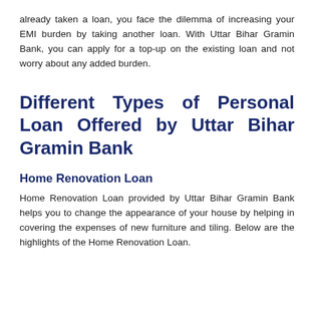already taken a loan, you face the dilemma of increasing your EMI burden by taking another loan. With Uttar Bihar Gramin Bank, you can apply for a top-up on the existing loan and not worry about any added burden.
Different Types of Personal Loan Offered by Uttar Bihar Gramin Bank
Home Renovation Loan
Home Renovation Loan provided by Uttar Bihar Gramin Bank helps you to change the appearance of your house by helping in covering the expenses of new furniture and tiling. Below are the highlights of the Home Renovation Loan.